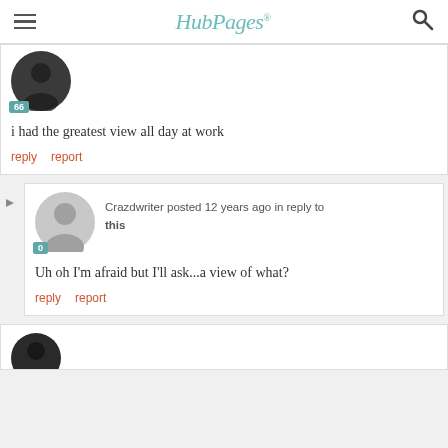HubPages
i had the greatest view all day at work
reply   report
Crazdwriter posted 12 years ago in reply to this
Uh oh I'm afraid but I'll ask...a view of what?
reply   report